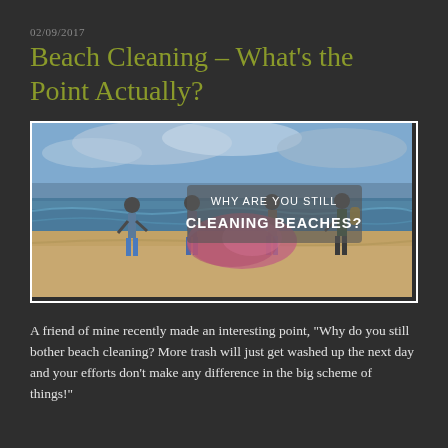02/09/2017
Beach Cleaning – What's the Point Actually?
[Figure (photo): Photo of people on a beach dragging large bags of collected trash, with ocean waves in the background. An overlay text reads 'WHY ARE YOU STILL CLEANING BEACHES?']
A friend of mine recently made an interesting point, "Why do you still bother beach cleaning? More trash will just get washed up the next day and your efforts don't make any difference in the big scheme of things!"